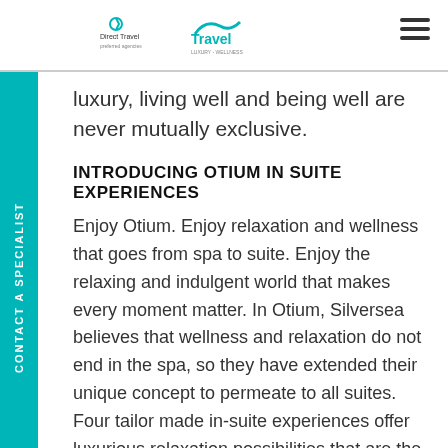Direct Travel | Travel
luxury, living well and being well are never mutually exclusive.
INTRODUCING OTIUM IN SUITE EXPERIENCES
Enjoy Otium. Enjoy relaxation and wellness that goes from spa to suite. Enjoy the relaxing and indulgent world that makes every moment matter. In Otium, Silversea believes that wellness and relaxation do not end in the spa, so they have extended their unique concept to permeate to all suites. Four tailor made in-suite experiences offer luxurious relaxation possibilities that are the embodiment of leisure and pleasure. Otium is far more than your average spa offering. Featured exclusively...